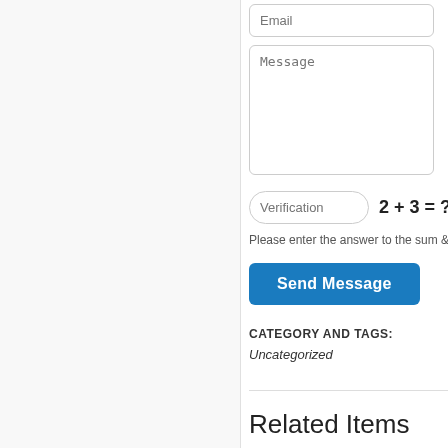Email
Message
Verification
2 + 3 = ?
Please enter the answer to the sum &
Send Message
CATEGORY AND TAGS:
Uncategorized
Related Items
[Figure (photo): Placeholder image thumbnail]